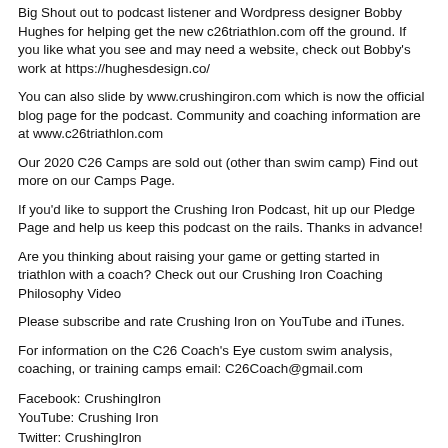Big Shout out to podcast listener and Wordpress designer Bobby Hughes for helping get the new c26triathlon.com off the ground. If you like what you see and may need a website, check out Bobby's work at https://hughesdesign.co/
You can also slide by www.crushingiron.com which is now the official blog page for the podcast. Community and coaching information are at www.c26triathlon.com
Our 2020 C26 Camps are sold out (other than swim camp) Find out more on our Camps Page.
If you'd like to support the Crushing Iron Podcast, hit up our Pledge Page and help us keep this podcast on the rails. Thanks in advance!
Are you thinking about raising your game or getting started in triathlon with a coach? Check out our Crushing Iron Coaching Philosophy Video
Please subscribe and rate Crushing Iron on YouTube and iTunes.
For information on the C26 Coach's Eye custom swim analysis, coaching, or training camps email: C26Coach@gmail.com
Facebook: CrushingIron
YouTube: Crushing Iron
Twitter: CrushingIron
Instagram: C26_Triathlon
www.c26triathlon.com